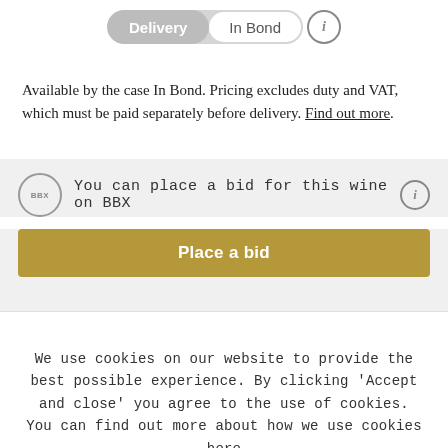Delivery / In Bond toggle
Available by the case In Bond. Pricing excludes duty and VAT, which must be paid separately before delivery. Find out more.
You can place a bid for this wine on BBX
Place a bid
We use cookies on our website to provide the best possible experience. By clicking ‘Accept and close’ you agree to the use of cookies. You can find out more about how we use cookies here
Accept and close